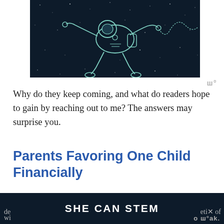[Figure (illustration): Dark space-themed illustration showing a person in a spacesuit floating/falling against a dark starry background, rendered in light teal line art style]
Why do they keep coming, and what do readers hope to gain by reaching out to me? The answers may surprise you.
Parents Favoring One Child Financially
Six years ago, I watched a close family member
[Figure (logo): SHE CAN STEM banner/advertisement at bottom of page with dark background]